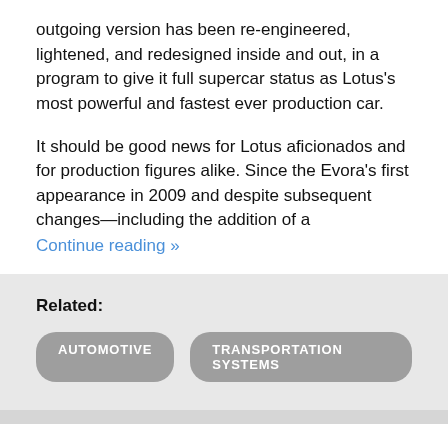outgoing version has been re-engineered, lightened, and redesigned inside and out, in a program to give it full supercar status as Lotus's most powerful and fastest ever production car.
It should be good news for Lotus aficionados and for production figures alike. Since the Evora's first appearance in 2009 and despite subsequent changes—including the addition of a supercharged engine for the S version in
Continue reading »
Related:
AUTOMOTIVE
TRANSPORTATION SYSTEMS